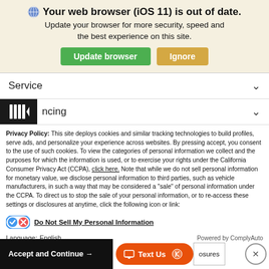Your web browser (iOS 11) is out of date. Update your browser for more security, speed and the best experience on this site.
Update browser | Ignore
Service
ncing
Privacy Policy: This site deploys cookies and similar tracking technologies to build profiles, serve ads, and personalize your experience across websites. By pressing accept, you consent to the use of such cookies. To view the categories of personal information we collect and the purposes for which the information is used, or to exercise your rights under the California Consumer Privacy Act (CCPA), click here. Note that while we do not sell personal information for monetary value, we disclose personal information to third parties, such as vehicle manufacturers, in such a way that may be considered a "sale" of personal information under the CCPA. To direct us to stop the sale of your personal information, or to re-access these settings or disclosures at anytime, click the following icon or link:
Do Not Sell My Personal Information
Language: English
Powered by ComplyAuto
Accept and Continue →
Text Us
osures